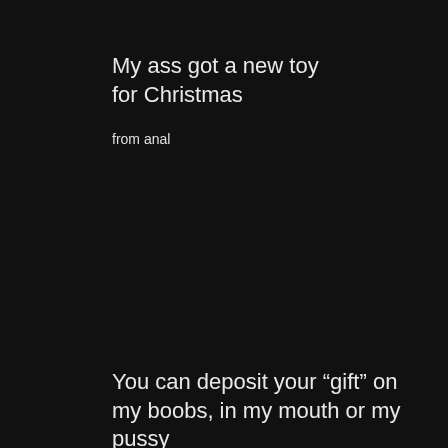My ass got a new toy for Christmas
from anal
You can deposit your “gift” on my boobs, in my mouth or my pussy